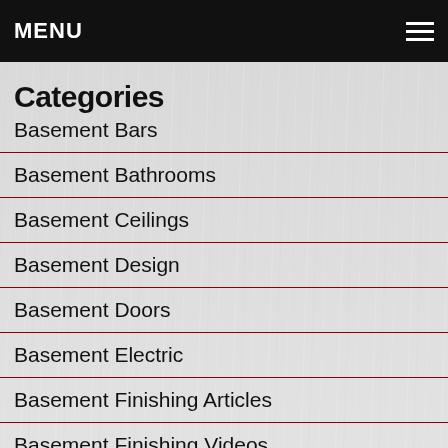MENU
Categories
Basement Bars
Basement Bathrooms
Basement Ceilings
Basement Design
Basement Doors
Basement Electric
Basement Finishing Articles
Basement Finishing Videos
Basement Framing